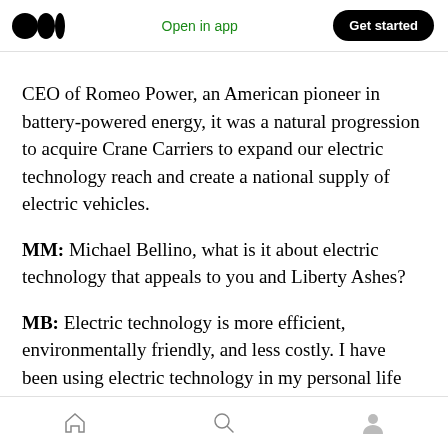Open in app | Get started
CEO of Romeo Power, an American pioneer in battery-powered energy, it was a natural progression to acquire Crane Carriers to expand our electric technology reach and create a national supply of electric vehicles.
MM: Michael Bellino, what is it about electric technology that appeals to you and Liberty Ashes?
MB: Electric technology is more efficient, environmentally friendly, and less costly. I have been using electric technology in my personal life
Home | Search | Profile